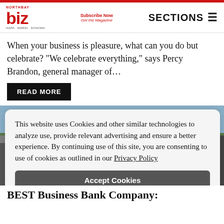NorthBay biz | Subscribe Now Get the Magazine | SECTIONS
When your business is pleasure, what can you do but celebrate? “We celebrate everything,” says Percy Brandon, general manager of…
READ MORE
[Figure (photo): Outdoor event photo with people gathered, tents visible in background, overlaid with cookie consent banner]
This website uses Cookies and other similar technologies to analyze use, provide relevant advertising and ensure a better experience. By continuing use of this site, you are consenting to use of cookies as outlined in our Privacy Policy
Accept Cookies
BEST Business Bank Company: